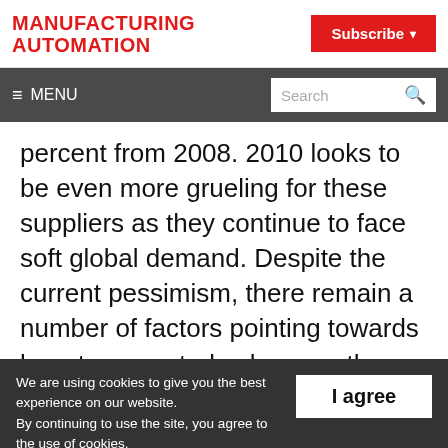MANUFACTURING AUTOMATION
Subscribe
≡ MENU | Search
percent from 2008. 2010 looks to be even more grueling for these suppliers as they continue to face soft global demand. Despite the current pessimism, there remain a number of factors pointing towards long-term control valve growth, according to a new ARC Advisory
We are using cookies to give you the best experience on our website. By continuing to use the site, you agree to the use of cookies. To find out more, read our privacy policy.